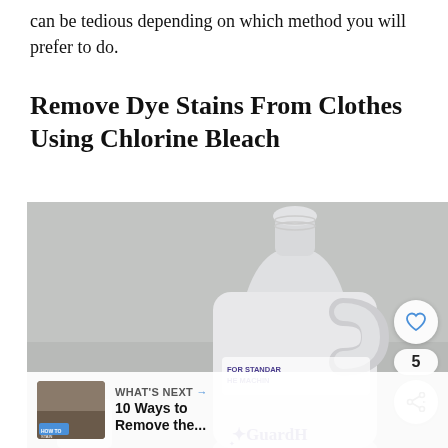can be tedious depending on which method you will prefer to do.
Remove Dye Stains From Clothes Using Chlorine Bleach
[Figure (photo): Photo of a white GuardH chlorine bleach bottle with a measuring cap, shown against a gray background. Partial label visible reading 'FOR STANDARD HE MACHINE'. A smaller white ridged container is visible at the bottom left.]
WHAT'S NEXT → 10 Ways to Remove the...